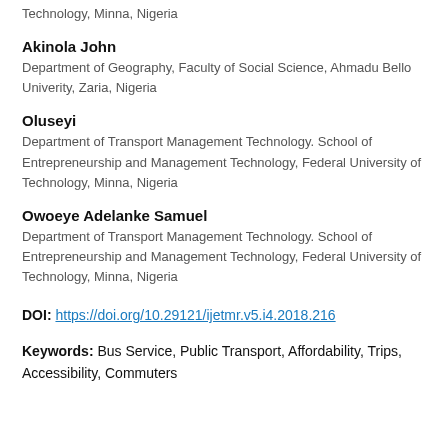Technology, Minna, Nigeria
Akinola John
Department of Geography, Faculty of Social Science, Ahmadu Bello Univerity, Zaria, Nigeria
Oluseyi
Department of Transport Management Technology. School of Entrepreneurship and Management Technology, Federal University of Technology, Minna, Nigeria
Owoeye Adelanke Samuel
Department of Transport Management Technology. School of Entrepreneurship and Management Technology, Federal University of Technology, Minna, Nigeria
DOI: https://doi.org/10.29121/ijetmr.v5.i4.2018.216
Keywords: Bus Service, Public Transport, Affordability, Trips, Accessibility, Commuters